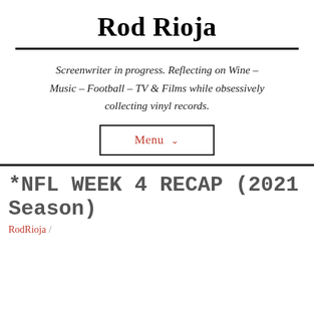Rod Rioja
Screenwriter in progress. Reflecting on Wine – Music – Football – TV & Films while obsessively collecting vinyl records.
Menu
*NFL WEEK 4 RECAP (2021 Season)
RodRioja /